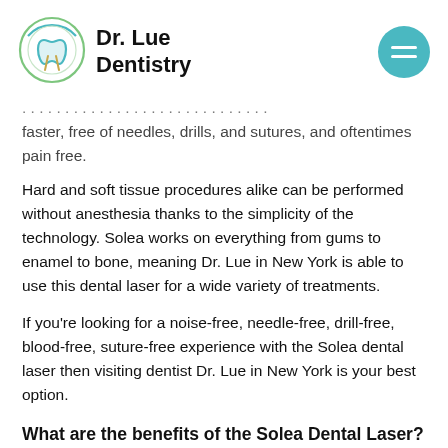[Figure (logo): Dr. Lue Dentistry logo: circular tooth icon with blue and green outline, next to bold text 'Dr. Lue Dentistry']
faster, free of needles, drills, and sutures, and oftentimes pain free.
Hard and soft tissue procedures alike can be performed without anesthesia thanks to the simplicity of the technology. Solea works on everything from gums to enamel to bone, meaning Dr. Lue in New York is able to use this dental laser for a wide variety of treatments.
If you’re looking for a noise-free, needle-free, drill-free, blood-free, suture-free experience with the Solea dental laser then visiting dentist Dr. Lue in New York is your best option.
What are the benefits of the Solea Dental Laser?
The Solea Dental Laser used by Dr. Lue in New York...